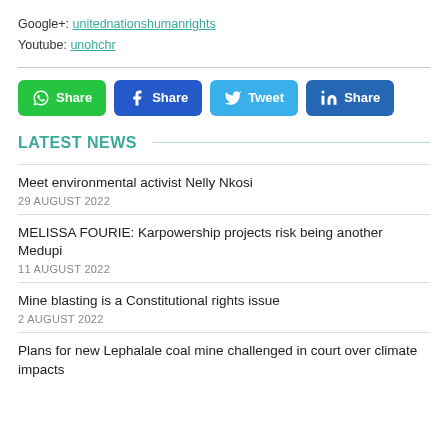Google+: unitednationshumanrights
Youtube: unohchr
[Figure (infographic): Four social media share buttons: WhatsApp Share (green), Facebook Share (blue), Twitter Tweet (light blue), LinkedIn Share (dark blue)]
LATEST NEWS
Meet environmental activist Nelly Nkosi
29 AUGUST 2022
MELISSA FOURIE: Karpowership projects risk being another Medupi
11 AUGUST 2022
Mine blasting is a Constitutional rights issue
2 AUGUST 2022
Plans for new Lephalale coal mine challenged in court over climate impacts